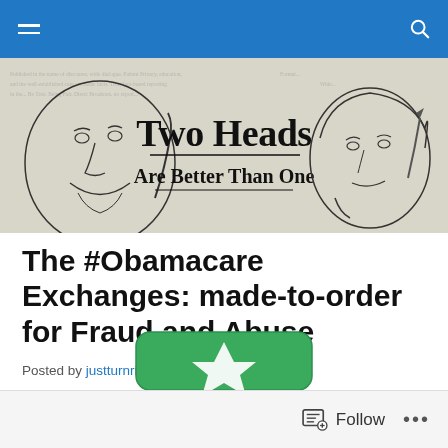Navigation bar with hamburger menu and search icon
[Figure (illustration): Blog header banner reading 'Two Heads Are Better Than One' with cartoon line-art illustrations of two faces on either side, on a light newspaper-texture background]
The #Obamacare Exchanges: made-to-order for Fraud and Abuse
Posted by justturnright
[Figure (other): Partial green rounded-rectangle button with white arrow/logo icon, partially cropped at bottom of page]
Follow   •••